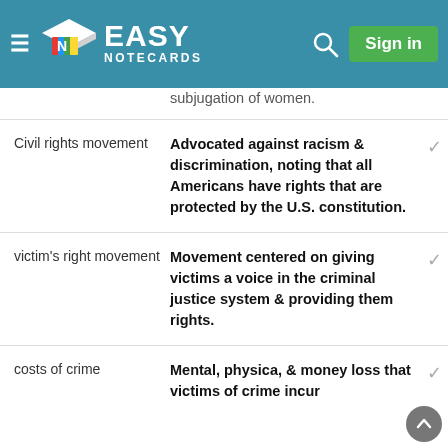Easy Notecards
subjugation of women.
| Term | Definition |
| --- | --- |
| Civil rights movement | Advocated against racism & discrimination, noting that all Americans have rights that are protected by the U.S. constitution. |
| victim's right movement | Movement centered on giving victims a voice in the criminal justice system & providing them rights. |
| costs of crime | Mental, physica, & money loss that victims of crime incur |